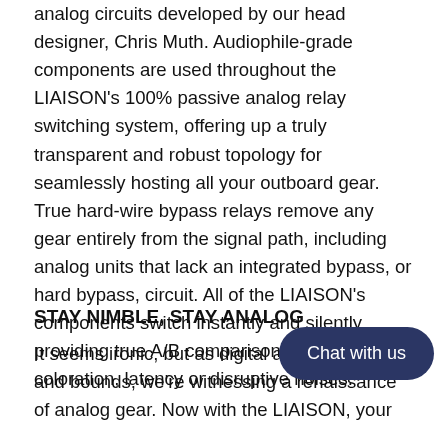analog circuits developed by our head designer, Chris Muth. Audiophile-grade components are used throughout the LIAISON's 100% passive analog relay switching system, offering up a truly transparent and robust topology for seamlessly hosting all your outboard gear. True hard-wire bypass relays remove any gear entirely from the signal path, including analog units that lack an integrated bypass, or hard bypass, circuit. All of the LIAISON's components switch instantly and silently, providing true A/B comparisons without coloration, latency or disruptive noises.
STAY NIMBLE, STAY ANALOG
It seems ironic, but as digital audio continues to advance in leaps and bounds, we're witnessing a renaissance of analog gear. Now with the LIAISON, your